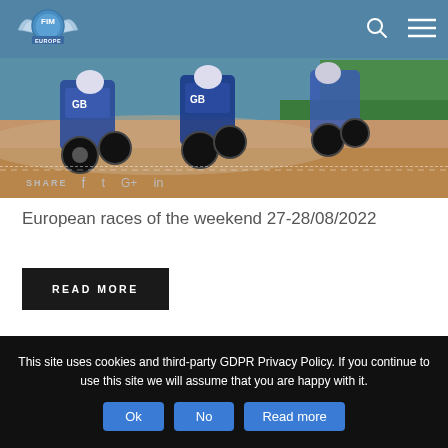[Figure (photo): Speedway motorcycle riders racing on dirt track, wearing blue and white gear with GB markings, leaning into a corner]
SHARE  f  t  G+  in
European races of the weekend 27-28/08/2022
READ MORE
This site uses cookies and third-party GDPR Privacy Policy. If you continue to use this site we will assume that you are happy with it.
Ok  No  Read more